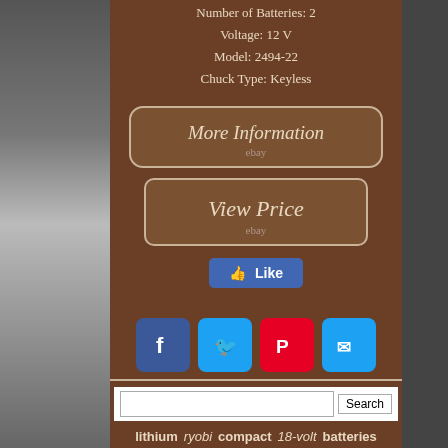Number of Batteries: 2
Voltage: 12 V
Model: 2494-22
Chuck Type: Keyless
[Figure (screenshot): More Information button with ebay label, rounded rectangle style]
[Figure (screenshot): View Price button with ebay label, rounded rectangle style]
[Figure (screenshot): Like button and social sharing icons for Facebook, Twitter, Pinterest, and Email]
[Figure (screenshot): Search input field with Search button]
lithium  ryobi  compact  18-volt  batteries